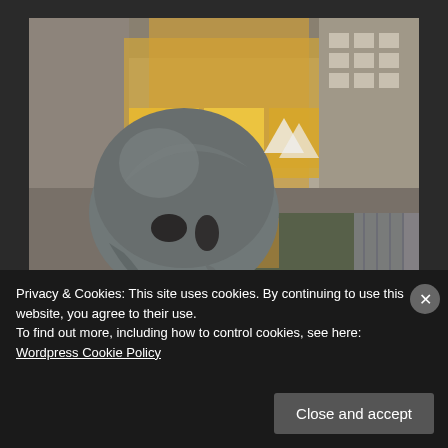[Figure (photo): A large dark metallic helmet sculpture (resembling an ancient Greek/Roman helmet) sits in front of a reflecting pool or water feature. Behind it is a European city street with shop fronts, illuminated yellow/orange storefronts, and multi-story buildings. A watermark reads 'worldasphography.com' in the lower left.]
Advertisements
Privacy & Cookies: This site uses cookies. By continuing to use this website, you agree to their use.
To find out more, including how to control cookies, see here:
Wordpress Cookie Policy